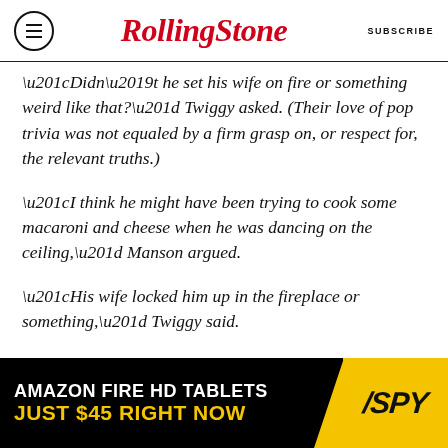Rolling Stone | SUBSCRIBE
“Didn’t he set his wife on fire or something weird like that?” Twiggy asked. (Their love of pop trivia was not equaled by a firm grasp on, or respect for, the relevant truths.)
“I think he might have been trying to cook some macaroni and cheese when he was dancing on the ceiling,” Manson argued.
“His wife locked him up in the fireplace or something,” Twiggy said.
And, somehow satisfied, they left it at that.
[Figure (other): Advertisement banner: AMAZON FIRE HD TABLETS JUST $45 RIGHT NOW / SPY logo on yellow background]